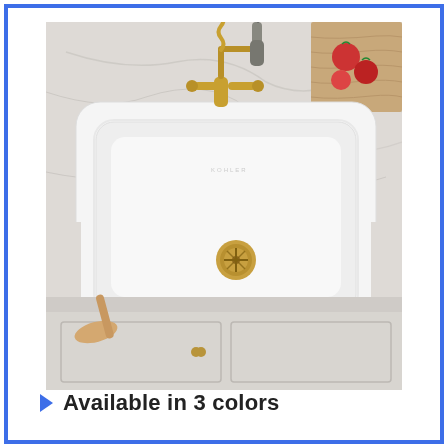[Figure (photo): A large white undermount kitchen sink installed in a marble countertop, with a brushed gold/brass industrial-style pull-down faucet. A wooden cutting board with tomatoes is visible in the upper right. A wooden spoon rests on the left edge of the sink. White cabinetry with brass hardware is visible below the counter.]
Available in 3 colors